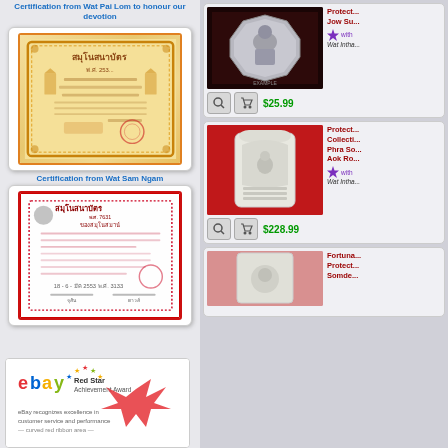Certification from Wat Pai Lom to honour our devotion
[Figure (photo): Certificate from Wat Pai Lom with Thai text and orange decorative border]
Certification from Wat Sam Ngam
[Figure (photo): Certificate from Wat Sam Ngam with Thai text and red decorative border]
[Figure (photo): eBay Red Star Achievement Award certificate]
[Figure (photo): Silver Buddhist amulet with meditating monk figure against dark red background]
$25.99
Protect... Jow Su... with... Wat Intha...
[Figure (photo): White clay Buddhist amulet (Phra Somdej) on red fabric background]
$228.99
Protect... Collecti... Phra So... Aok Ro... with... Wat Intha...
[Figure (photo): White Buddhist amulet on red-pink fabric background - partially visible]
Fortuna... Protect... Somde...